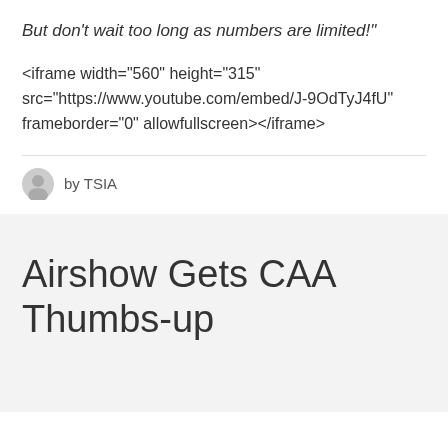But don't wait too long as numbers are limited!"
<iframe width="560" height="315" src="https://www.youtube.com/embed/J-9OdTyJ4fU" frameborder="0" allowfullscreen></iframe>
by TSIA
Airshow Gets CAA Thumbs-up